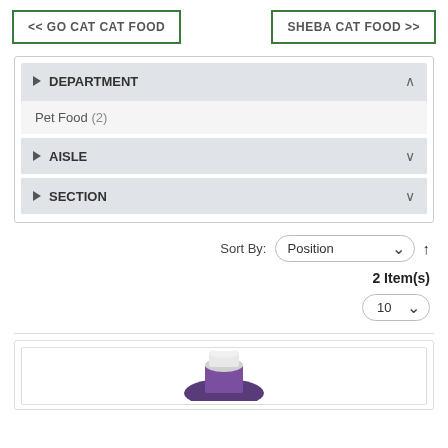<< GO CAT CAT FOOD
SHEBA CAT FOOD >>
DEPARTMENT
Pet Food (2)
AISLE
SECTION
Sort By: Position
2 Item(s)
10
[Figure (photo): Partial product image at bottom of page showing cat food can with purple label]